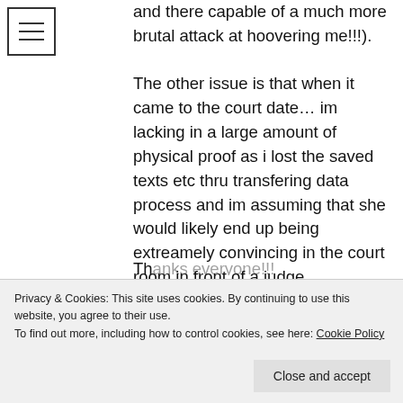[Figure (other): Hamburger menu icon (three horizontal lines in a square border)]
and there capable of a much more brutal attack at hoovering me!!!). The other issue is that when it came to the court date… im lacking in a large amount of physical proof as i lost the saved texts etc thru transfering data process and im assuming that she would likely end up being extreamely convincing in the court room in front of a judge… convincing to the point of making ME look like im a nutcase whos full of it and there is nothing wrong with her…. is that a fairly correct assumption???
Privacy & Cookies: This site uses cookies. By continuing to use this website, you agree to their use. To find out more, including how to control cookies, see here: Cookie Policy